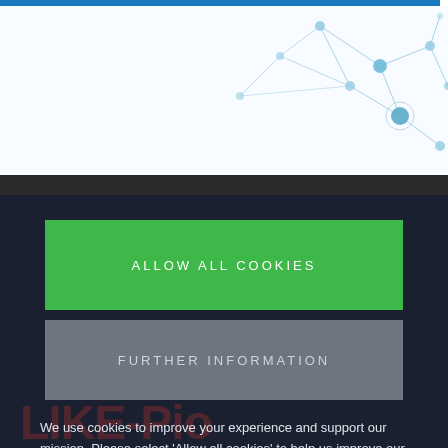[Figure (illustration): Light blue network/connected nodes graphic on white background, with a thin blue bar at the very top]
ALLOW ALL COOKIES
FURTHER INFORMATION
We use cookies to improve your experience and support our mission. Please select ‘Allow all cookies’ to help us improve our activities.
See our privacy policy here.